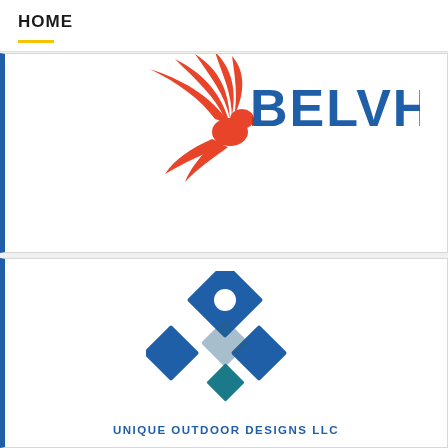HOME
[Figure (logo): Partially visible red bird/eagle logo with blue text 'BELVHA...' — top card cropped at top]
[Figure (logo): Unique Outdoor Designs LLC logo: blue diamond shapes arranged in a cluster pattern with white circle, company name below in blue letters 'UNIQUE OUTDOOR DESIGNS LLC']